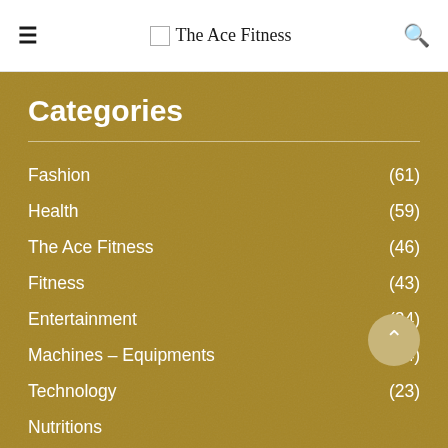☰ The Ace Fitness 🔍
Categories
Fashion (61)
Health (59)
The Ace Fitness (46)
Fitness (43)
Entertainment (34)
Machines – Equipments (24)
Technology (23)
Nutritions
General (10)
Current issues (9)